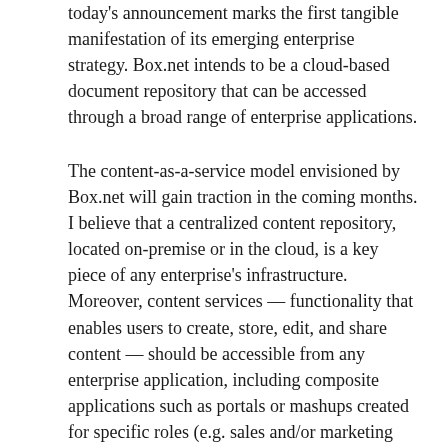today's announcement marks the first tangible manifestation of its emerging enterprise strategy. Box.net intends to be a cloud-based document repository that can be accessed through a broad range of enterprise applications.
The content-as-a-service model envisioned by Box.net will gain traction in the coming months. I believe that a centralized content repository, located on-premise or in the cloud, is a key piece of any enterprise's infrastructure. Moreover, content services — functionality that enables users to create, store, edit, and share content — should be accessible from any enterprise application, including composite applications such as portals or mashups created for specific roles (e.g. sales and/or marketing employees, channel partners, customers). Users should not be required to interact with content only through dedicated tools such as office productivity suites and Content Management Systems